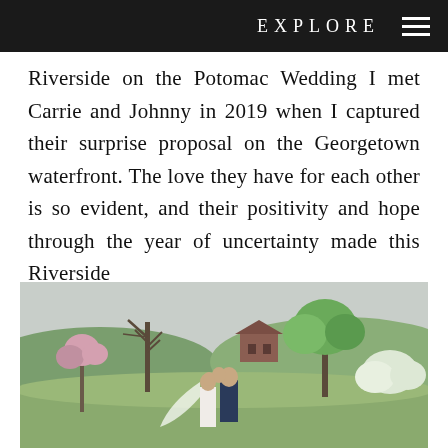EXPLORE
Riverside on the Potomac Wedding I met Carrie and Johnny in 2019 when I captured their surprise proposal on the Georgetown waterfront. The love they have for each other is so evident, and their positivity and hope through the year of uncertainty made this Riverside
[Figure (photo): Outdoor wedding photo showing a bride and groom in a garden/field setting with bare trees, green trees, and a barn or farmhouse building visible in the background. The couple appears to be sharing an intimate moment, with the bride's veil visible.]